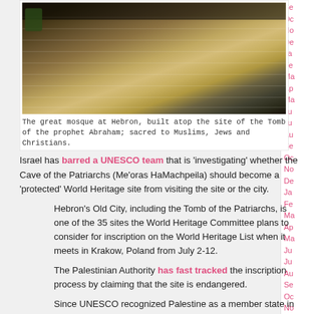[Figure (photo): Photograph of the great mosque at Hebron, showing wide stone steps ascending to the building, with potted plants lining the sides.]
The great mosque at Hebron, built atop the site of the Tomb of the prophet Abraham; sacred to Muslims, Jews and Christians.
Israel has barred a UNESCO team that is 'investigating' whether the Cave of the Patriarchs (Me'oras HaMachpeila) should become a 'protected' World Heritage site from visiting the site or the city.
Hebron's Old City, including the Tomb of the Patriarchs, is one of the 35 sites the World Heritage Committee plans to consider for inscription on the World Heritage List when it meets in Krakow, Poland from July 2-12.
The Palestinian Authority has fast tracked the inscription process by claiming that the site is endangered.
Since UNESCO recognized Palestine as a member state in 2011, the Palestinian Authority has similarly fast tracked inscription of two other sites on the list of World Heritage in Danger. This includes the Church of the Nativity and the Pilgrimage Route in Bethlehem in 2012 and the ancient